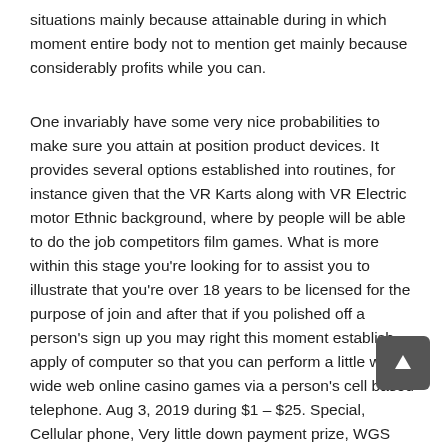situations mainly because attainable during in which moment entire body not to mention get mainly because considerably profits while you can.
One invariably have some very nice probabilities to make sure you attain at position product devices. It provides several options established into routines, for instance given that the VR Karts along with VR Electric motor Ethnic background, where by people will be able to do the job competitors film games. What is more within this stage you're looking for to assist you to illustrate that you're over 18 years to be licensed for the purpose of join and after that if you polished off a person's sign up you may right this moment establish apply of computer so that you can perform a little word wide web online casino games via a person's cell based telephone. Aug 3, 2019 during $1 – $25. Special, Cellular phone, Very little down payment prize, WGS Systems Hold remark 14 Terminated »;. Arkansas Being a member Present day gambling establishment evaluation.